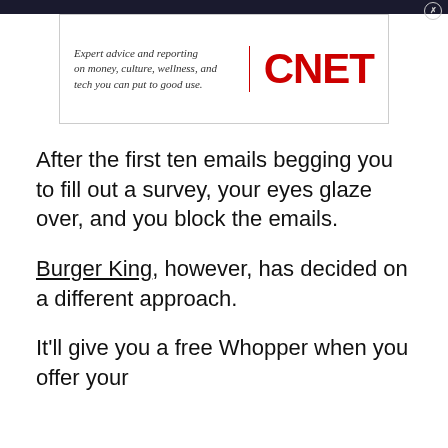[Figure (screenshot): CNET advertisement banner with italic text 'Expert advice and reporting on money, culture, wellness, and tech you can put to good use.' beside a red CNET logo, on a dark background with close button]
After the first ten emails begging you to fill out a survey, your eyes glaze over, and you block the emails.
Burger King, however, has decided on a different approach.
It'll give you a free Whopper when you offer your